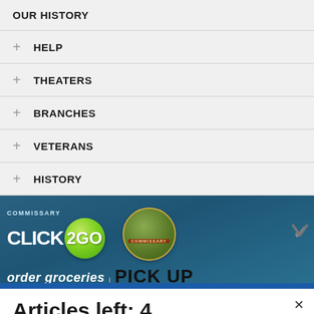OUR HISTORY
+ HELP
+ THEATERS
+ BRANCHES
+ VETERANS
+ HISTORY
[Figure (screenshot): Commissary Click2GO advertisement banner with green circle logo and Commissary badge, showing 'order groceries' text at bottom]
Articles left: 4
Subscribe to get unlimited access  Subscribe
Already have an account?  Login here